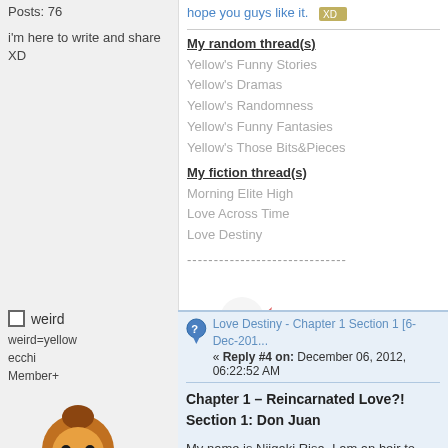Posts: 76
i'm here to write and share XD
hope you guys like it.
My random thread(s)
Yellow's Funny Stories
Yellow's Dramas
Yellow's Randomness
Yellow's Funny Fantasies
Yellow's Those Bits&Pieces
My fiction thread(s)
Morning Elite High
Love Across Time
Love Destiny
[Figure (illustration): Cartoon ninja character with pink headband]
weird
weird=yellow
ecchi
Member+
[Figure (illustration): Cartoon animal avatar with brown hair]
Love Destiny - Chapter 1 Section 1 [6-Dec-201...
« Reply #4 on: December 06, 2012, 06:22:52 AM
Chapter 1 – Reincarnated Love?!
Section 1: Don Juan
My name is Niigaki Risa. I am an heir to one of the fou
Ever since I was a kid, I keep dreaming this same drea